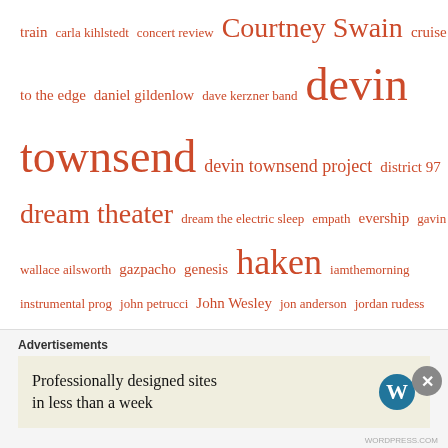train carla kihlstedt concert review Courtney Swain cruise to the edge daniel gildenlow dave kerzner band devin townsend devin townsend project district 97 dream theater dream the electric sleep empath evership gavin wallace ailsworth gazpacho genesis haken iamthemorning instrumental prog john petrucci John Wesley jon anderson jordan rudess king crimson kings x kscope leprous major parkinson marillion mike keneally Mike Portnoy moron police music neal morse nick dvirgilio pain of salvation patreon Podcast porcupine tree Prog prog festivals proglodytes proglodytes radio proglodytes radio podcast prog metal progressive
Advertisements
Professionally designed sites in less than a week